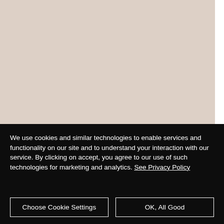[Figure (screenshot): Beige/tan background area filling upper portion of the page, with a white strip on the right edge.]
We use cookies and similar technologies to enable services and functionality on our site and to understand your interaction with our service. By clicking on accept, you agree to our use of such technologies for marketing and analytics. See Privacy Policy
Choose Cookie Settings
OK, All Good